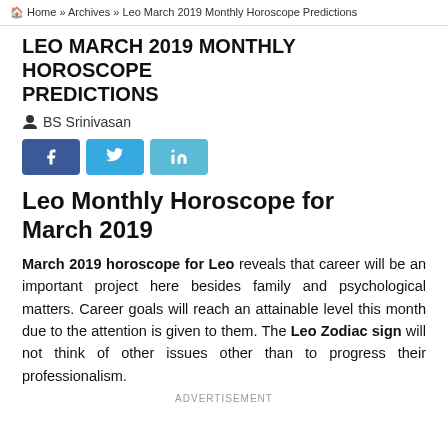Home » Archives » Leo March 2019 Monthly Horoscope Predictions
LEO MARCH 2019 MONTHLY HOROSCOPE PREDICTIONS
BS Srinivasan
[Figure (other): Social share buttons: Facebook, Twitter, LinkedIn]
Leo Monthly Horoscope for March 2019
March 2019 horoscope for Leo reveals that career will be an important project here besides family and psychological matters. Career goals will reach an attainable level this month due to the attention is given to them. The Leo Zodiac sign will not think of other issues other than to progress their professionalism.
ADVERTISEMENT